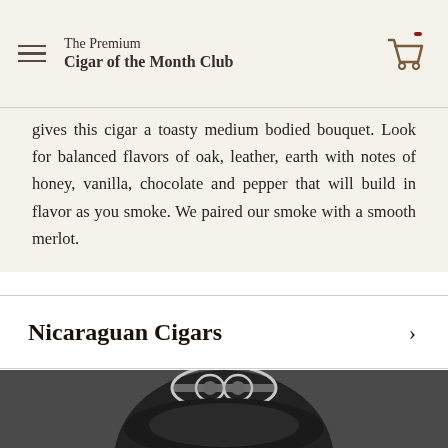The Premium Cigar of the Month Club
gives this cigar a toasty medium bodied bouquet. Look for balanced flavors of oak, leather, earth with notes of honey, vanilla, chocolate and pepper that will build in flavor as you smoke. We paired our smoke with a smooth merlot.
Nicaraguan Cigars
[Figure (photo): A black ceramic cigar ashtray with a silver cigar cutter resting on top, photographed from above against a dark background.]